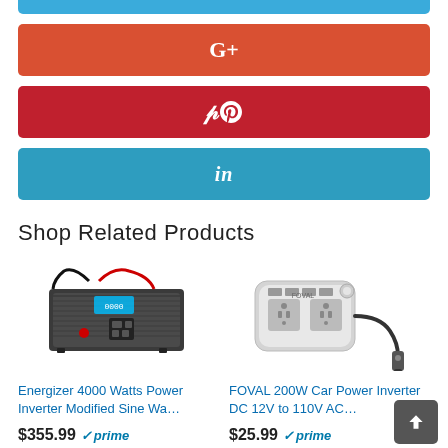[Figure (screenshot): Social share buttons: Google+, Pinterest, LinkedIn]
Shop Related Products
[Figure (photo): Energizer 4000 Watts Power Inverter Modified Sine Wave product image]
Energizer 4000 Watts Power Inverter Modified Sine Wa…
$355.99 ✓prime
★★★★☆ (1801)
[Figure (photo): FOVAL 200W Car Power Inverter DC 12V to 110V AC product image]
FOVAL 200W Car Power Inverter DC 12V to 110V AC…
$25.99 ✓prime
★★★★☆ (13994)